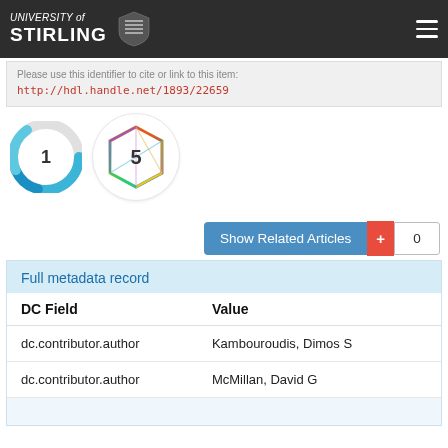UNIVERSITY of STIRLING
Please use this identifier to cite or link to this item: http://hdl.handle.net/1893/22659
[Figure (other): Altmetric donut badge showing score 1 and Dimensions citation badge showing 5]
Show Related Articles  +  0
| DC Field | Value |
| --- | --- |
| dc.contributor.author | Kambouroudis, Dimos S |
| dc.contributor.author | McMillan, David G |
|  |  |